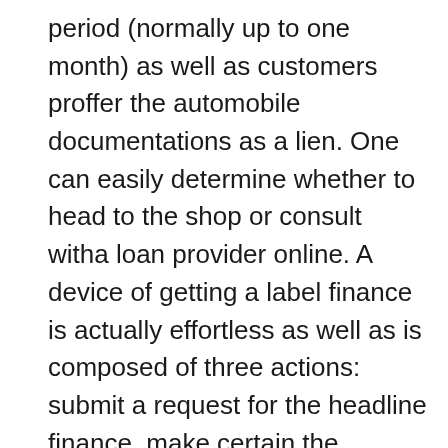period (normally up to one month) as well as customers proffer the automobile documentations as a lien. One can easily determine whether to head to the shop or consult witha loan provider online. A device of getting a label finance is actually effortless as well as is composed of three actions: submit a request for the headline finance, make certain the compulsory papers as well as, ultimately, acquire your funds. The documentations whichan individual ought to offer are his or her title financing request, auto documentations, and also a photographID. There exist plenty of possibilities for a funding administering. Choose the choice whichwill definitely be actually the most more effective for you. Handle to the closest headline